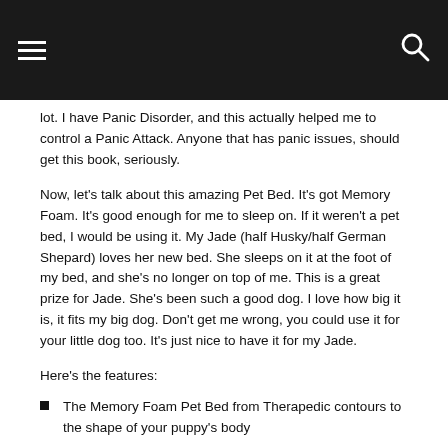☰  🔍
lot.  I have Panic Disorder, and this actually helped me to control a Panic Attack.  Anyone that has panic issues, should get this book, seriously.
Now, let's talk about this amazing Pet Bed.  It's got Memory Foam.  It's good enough for me to sleep on.  If it weren't a pet bed, I would be using it.  My Jade (half Husky/half German Shepard) loves her new bed.  She sleeps on it at the foot of my bed, and she's no longer on top of me.  This is a great prize for Jade.  She's been such a good dog.  I love how big it is, it fits my big dog.  Don't get me wrong, you could use it for your little dog too.  It's just nice to have it for my Jade.
Here's the features:
The Memory Foam Pet Bed from Therapedic contours to the shape of your puppy's body
Distributes your dog's weight evenly so that way it can sleep